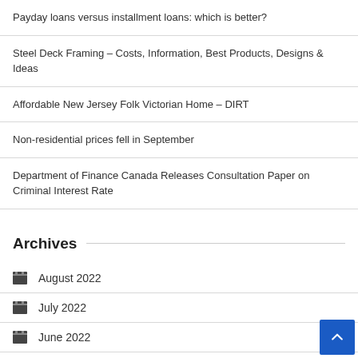Payday loans versus installment loans: which is better?
Steel Deck Framing – Costs, Information, Best Products, Designs & Ideas
Affordable New Jersey Folk Victorian Home – DIRT
Non-residential prices fell in September
Department of Finance Canada Releases Consultation Paper on Criminal Interest Rate
Archives
August 2022
July 2022
June 2022
May 2022